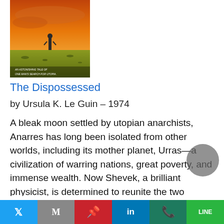[Figure (illustration): Book cover of 'The Dispossessed' showing a lone figure standing on a barren orange/yellow landscape with dramatic sky. Text at bottom reads 'AN ASTONISHING TALE OF ONE MAN'S SEARCH FOR UTOPIA.']
The Dispossessed
by Ursula K. Le Guin – 1974
A bleak moon settled by utopian anarchists, Anarres has long been isolated from other worlds, including its mother planet, Urras—a civilization of warring nations, great poverty, and immense wealth. Now Shevek, a brilliant physicist, is determined to reunite the two planets, which have been divided by centuries of distrust. He will seek answers, question the unquestionable, and attempt to tear down the walls of hatred that have kept
Twitter | Gmail | Pinterest | LinkedIn | WhatsApp | LINE